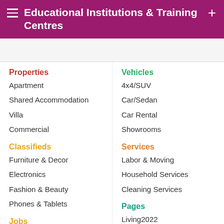Educational Institutions & Training Centres
Properties
Apartment
Shared Accommodation
Villa
Commercial
Vehicles
4x4/SUV
Car/Sedan
Car Rental
Showrooms
Classifieds
Furniture & Decor
Electronics
Fashion & Beauty
Phones & Tablets
Services
Labor & Moving
Household Services
Cleaning Services
Jobs
Jobseekers
Pages
Living2022